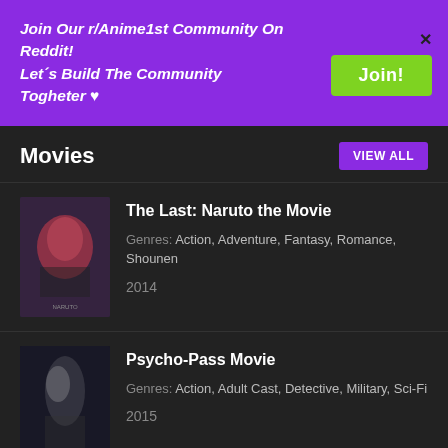[Figure (infographic): Purple banner ad promoting r/Anime1st Community on Reddit with a green Join button and an X close button]
Movies
The Last: Naruto the Movie — Genres: Action, Adventure, Fantasy, Romance, Shounen — 2014
Psycho-Pass Movie — Genres: Action, Adult Cast, Detective, Military, Sci-Fi — 2015
Jujutsu Kaisen 0 Movie — Genres: Action, Fantasy, School, Shounen — 2021